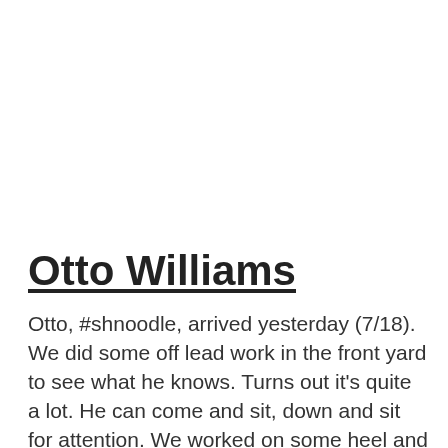Otto Williams
Otto, #shnoodle, arrived yesterday (7/18). We did some off lead work in the front yard to see what he knows. Turns out it's quite a lot. He can come and sit, down and sit for attention. We worked on some heel and sit as a new behavior pattern. 7/19: Great lesson today. We worked on lead at the grassy training area. His heeling was already